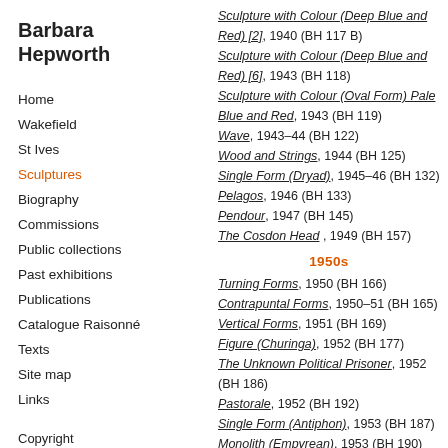Barbara Hepworth
Home
Wakefield
St Ives
Sculptures
Biography
Commissions
Public collections
Past exhibitions
Publications
Catalogue Raisonné
Texts
Site map
Links
Copyright
All images and texts included on this website are protected by copyright. They may be reproduced for personal or educational use only.
Sculpture with Colour (Deep Blue and Red) [2], 1940 (BH 117 B)
Sculpture with Colour (Deep Blue and Red) [6], 1943 (BH 118)
Sculpture with Colour (Oval Form) Pale Blue and Red, 1943 (BH 119)
Wave, 1943–44 (BH 122)
Wood and Strings, 1944 (BH 125)
Single Form (Dryad), 1945–46 (BH 132)
Pelagos, 1946 (BH 133)
Pendour, 1947 (BH 145)
The Cosdon Head, 1949 (BH 157)
1950s
Turning Forms, 1950 (BH 166)
Contrapuntal Forms, 1950–51 (BH 165)
Vertical Forms, 1951 (BH 169)
Figure (Churinga), 1952 (BH 177)
The Unknown Political Prisoner, 1952 (BH 186)
Pastorale, 1952 (BH 192)
Single Form (Antiphon), 1953 (BH 187)
Monolith (Empyrean), 1953 (BH 190)
Madonna and Child, 1954 (BH 193)
Two Figures (Menhirs), 1954–55 (BH